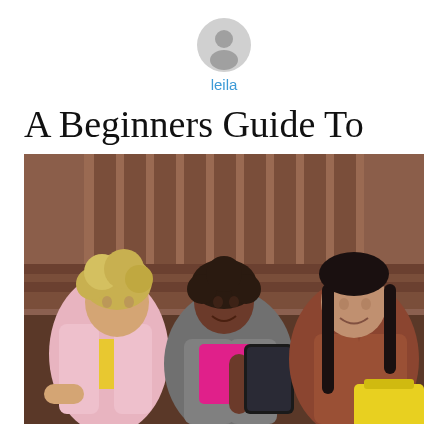[Figure (other): Gray user avatar icon (silhouette of a person in a circle)]
leila
A Beginners Guide To
[Figure (photo): Three young women sitting on outdoor steps in an urban setting. The woman on the left has blonde curly hair and wears a pink blazer over a yellow top. The woman in the center has short dark curly hair and holds a tablet/device, wearing a gray jacket. The woman on the right has long dark hair and wears a rust/brown jacket and holds a yellow box. Background shows brownstone staircase architecture.]